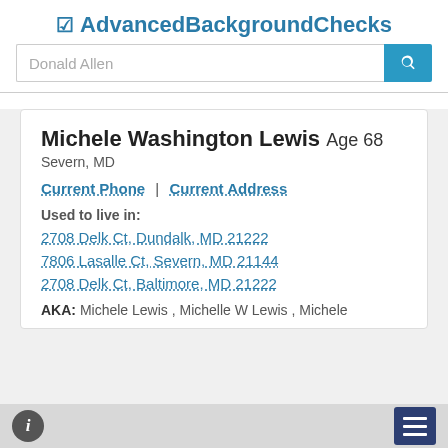AdvancedBackgroundChecks
Donald Allen
Michele Washington Lewis Age 68
Severn, MD
Current Phone | Current Address
Used to live in:
2708 Delk Ct, Dundalk, MD 21222
7806 Lasalle Ct, Severn, MD 21144
2708 Delk Ct, Baltimore, MD 21222
AKA: Michele Lewis , Michelle W Lewis , Michele